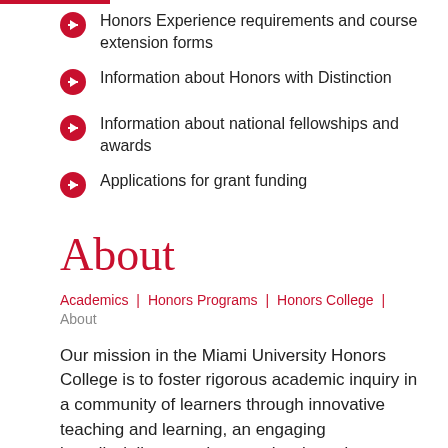Honors Experience requirements and course extension forms
Information about Honors with Distinction
Information about national fellowships and awards
Applications for grant funding
About
Academics | Honors Programs | Honors College | About
Our mission in the Miami University Honors College is to foster rigorous academic inquiry in a community of learners through innovative teaching and learning, an engaging interdisciplinary and research-oriented curriculum, creative and critical inquiry with talented faculty, and diverse leadership and